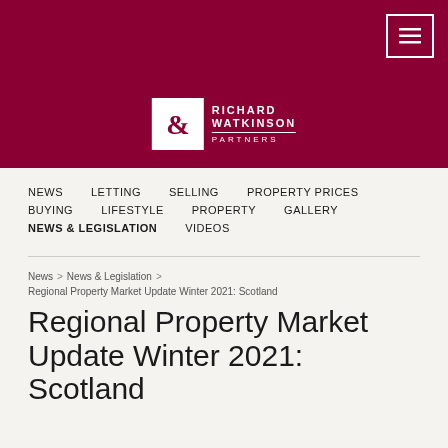[Figure (logo): Richard Watkinson Partners logo with ampersand symbol on dark red/crimson header background, with hamburger menu button in top right corner]
NEWS  LETTING  SELLING  PROPERTY PRICES  BUYING  LIFESTYLE  PROPERTY  GALLERY  NEWS & LEGISLATION  VIDEOS
News > News & Legislation >
Regional Property Market Update Winter 2021: Scotland
Regional Property Market Update Winter 2021: Scotland